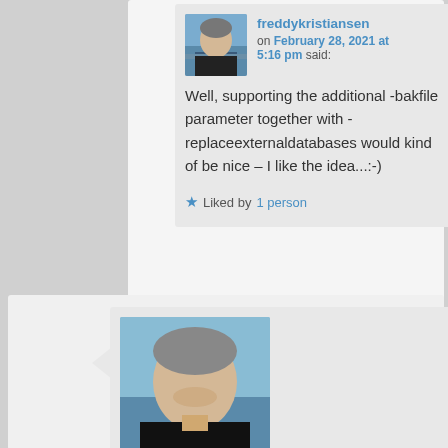[Figure (photo): Avatar photo of freddykristiansen, man with light background]
freddykristiansen on February 28, 2021 at 5:16 pm said:
Well, supporting the additional -bakfile parameter together with -replaceexternaldatabases would kind of be nice – I like the idea...:-)
★ Liked by 1 person
[Figure (photo): Avatar photo of freddykristiansen, man smiling]
freddykristiansen on February 28, 2021 at 5:34 pm